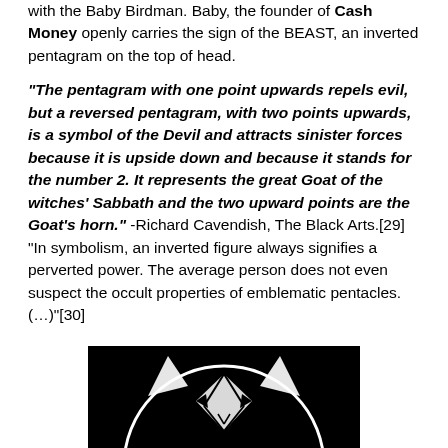with the Baby Birdman. Baby, the founder of Cash Money openly carries the sign of the BEAST, an inverted pentagram on the top of head.
“The pentagram with one point upwards repels evil, but a reversed pentagram, with two points upwards, is a symbol of the Devil and attracts sinister forces because it is upside down and because it stands for the number 2. It represents the great Goat of the witches’ Sabbath and the two upward points are the Goat’s horn.” -Richard Cavendish, The Black Arts.[29] “In symbolism, an inverted figure always signifies a perverted power. The average person does not even suspect the occult properties of emblematic pentacles. (…)”[30]
[Figure (illustration): Black background image showing an inverted pentagram symbol with a goat/demon face in white lines, partially visible at the bottom of the page.]